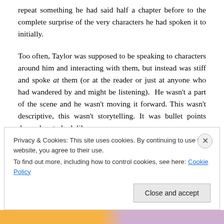repeat something he had said half a chapter before to the complete surprise of the very characters he had spoken it to initially.
Too often, Taylor was supposed to be speaking to characters around him and interacting with them, but instead was stiff and spoke at them (or at the reader or just at anyone who had wandered by and might be listening). He wasn't a part of the scene and he wasn't moving it forward. This wasn't descriptive, this wasn't storytelling. It was bullet points dressed up to look like a
Privacy & Cookies: This site uses cookies. By continuing to use this website, you agree to their use.
To find out more, including how to control cookies, see here: Cookie Policy